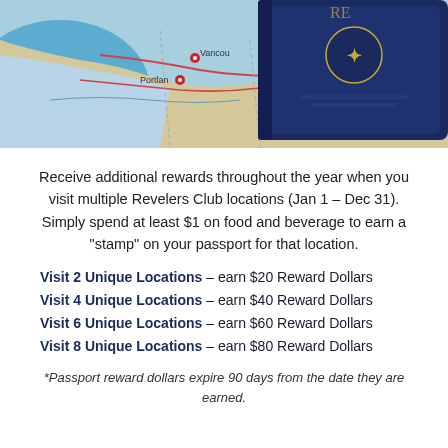[Figure (photo): Photo of a map showing Pacific Northwest (Portland, Vancouver, Oregon) with a dark navy passport book placed on top]
Receive additional rewards throughout the year when you visit multiple Revelers Club locations (Jan 1 – Dec 31). Simply spend at least $1 on food and beverage to earn a "stamp" on your passport for that location.
Visit 2 Unique Locations – earn $20 Reward Dollars
Visit 4 Unique Locations – earn $40 Reward Dollars
Visit 6 Unique Locations – earn $60 Reward Dollars
Visit 8 Unique Locations – earn $80 Reward Dollars
*Passport reward dollars expire 90 days from the date they are earned.